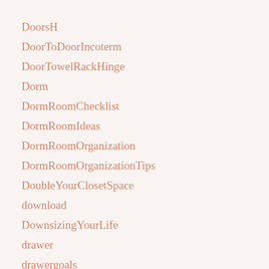DoorsH
DoorToDoorIncoterm
DoorTowelRackHinge
Dorm
DormRoomChecklist
DormRoomIdeas
DormRoomOrganization
DormRoomOrganizationTips
DoubleYourClosetSpace
download
DownsizingYourLife
drawer
drawergoals
drawerorganization